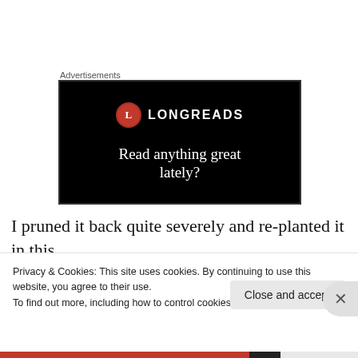Advertisements
[Figure (screenshot): Longreads advertisement banner on black background with red circle logo, 'L' initial, text 'LONGREADS' and tagline 'Read anything great lately?']
I pruned it back quite severely and re-planted it in this
Privacy & Cookies: This site uses cookies. By continuing to use this website, you agree to their use.
To find out more, including how to control cookies, see here: Cookie Policy
Close and accept